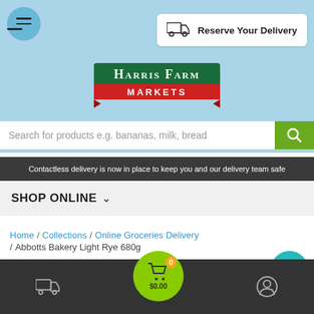[Figure (screenshot): Harris Farm Markets website header with hamburger menu, Reserve Your Delivery button, logo, search bar, contactless delivery banner, shop online navigation, breadcrumb navigation, and bottom toolbar.]
Reserve Your Delivery
Harris Farm Markets
Search for products e.g. bananas, milk, bread
Contactless delivery is now in place to keep you and our delivery team safe
SHOP ONLINE
Home / Collections / Online Groceries Delivery / Abbotts Bakery Light Rye 680g
$0.00